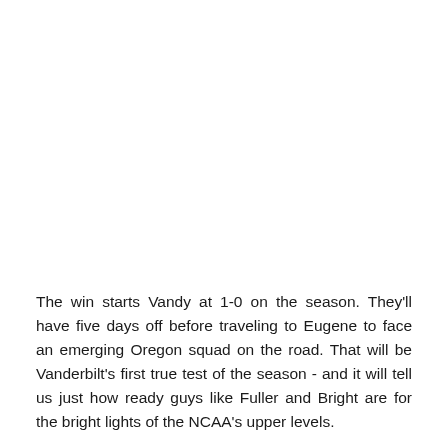The win starts Vandy at 1-0 on the season. They'll have five days off before traveling to Eugene to face an emerging Oregon squad on the road. That will be Vanderbilt's first true test of the season - and it will tell us just how ready guys like Fuller and Bright are for the bright lights of the NCAA's upper levels.